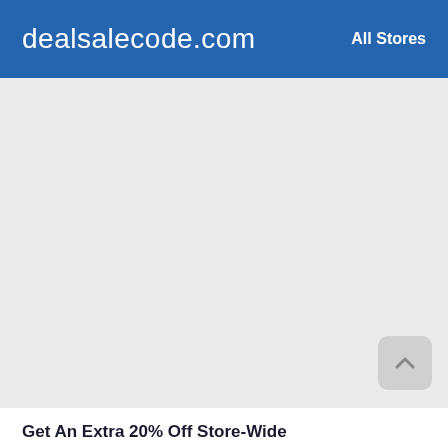dealsalecode.com   All Stores
[Figure (screenshot): Large grey empty content area with a scroll-to-top button in the bottom right corner]
Get An Extra 20% Off Store-Wide